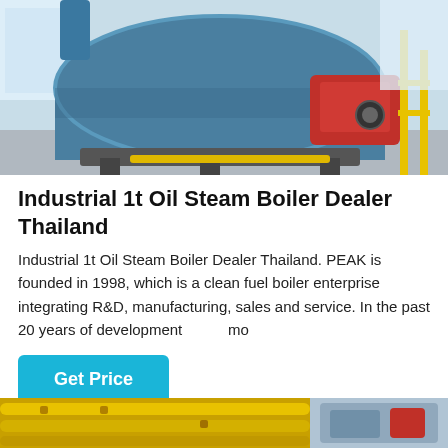[Figure (photo): Industrial oil steam boiler in a factory setting — large blue cylindrical boiler with red combustion unit and yellow support structures]
Industrial 1t Oil Steam Boiler Dealer Thailand
Industrial 1t Oil Steam Boiler Dealer Thailand. PEAK is founded in 1998, which is a clean fuel boiler enterprise integrating R&D, manufacturing, sales and service. In the past 20 years of development mo
[Figure (infographic): Get Price button (teal/cyan), WhatsApp icon, and Contact us now! green bubble button]
[Figure (photo): Bottom partial images: left shows yellow industrial pipes/tubes, right shows another industrial equipment photo]